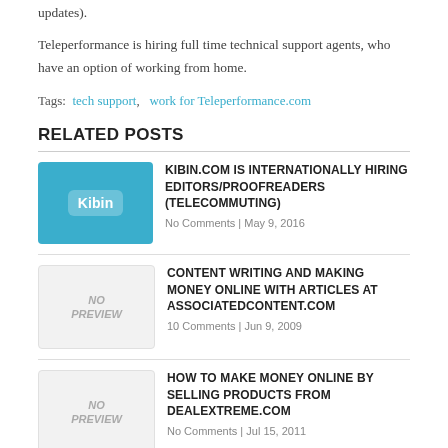updates).
Teleperformance is hiring full time technical support agents, who have an option of working from home.
Tags: tech support, work for Teleperformance.com
RELATED POSTS
KIBIN.COM IS INTERNATIONALLY HIRING EDITORS/PROOFREADERS (TELECOMMUTING) — No Comments | May 9, 2016
CONTENT WRITING AND MAKING MONEY ONLINE WITH ARTICLES AT ASSOCIATEDCONTENT.COM — 10 Comments | Jun 9, 2009
HOW TO MAKE MONEY ONLINE BY SELLING PRODUCTS FROM DEALEXTREME.COM — No Comments | Jul 15, 2011